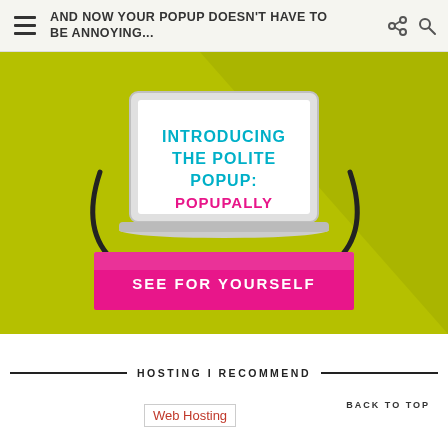AND NOW YOUR POPUP DOESN'T HAVE TO BE ANNOYING...
[Figure (illustration): Promotional banner on green/olive background showing a laptop screen displaying 'INTRODUCING THE POLITE POPUP: POPUPALLY' in teal and pink text, with decorative curved arrows on each side, and a pink 'SEE FOR YOURSELF' call-to-action button below the laptop.]
HOSTING I RECOMMEND
[Figure (other): Web Hosting logo/image placeholder with pink text]
BACK TO TOP